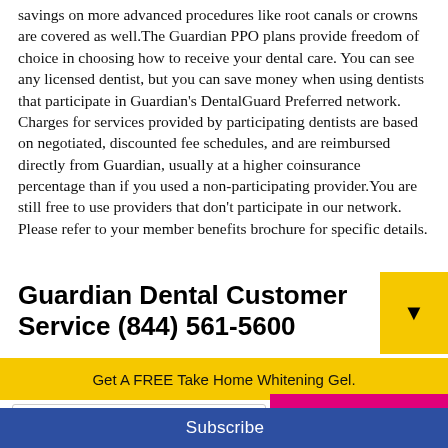savings on more advanced procedures like root canals or crowns are covered as well.The Guardian PPO plans provide freedom of choice in choosing how to receive your dental care. You can see any licensed dentist, but you can save money when using dentists that participate in Guardian's DentalGuard Preferred network. Charges for services provided by participating dentists are based on negotiated, discounted fee schedules, and are reimbursed directly from Guardian, usually at a higher coinsurance percentage than if you used a non-participating provider.You are still free to use providers that don't participate in our network. Please refer to your member benefits brochure for specific details.
Guardian Dental Customer Service (844) 561-5600
Get A FREE Take Home Whitening Gel.
Your email address..
Subscribe